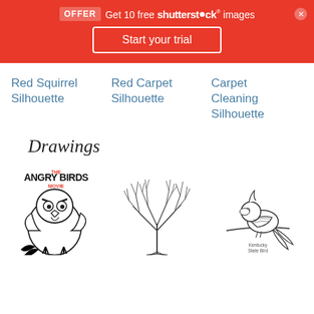[Figure (screenshot): Shutterstock promotional banner with OFFER badge, text 'Get 10 free shutterstock images', and 'Start your trial' button on red background]
Red Squirrel Silhouette
Red Carpet Silhouette
Carpet Cleaning Silhouette
Drawings
[Figure (illustration): The Angry Birds Movie coloring page drawing of a bird character]
[Figure (illustration): Line drawing of a bare branch/bush plant]
[Figure (illustration): Line drawing of a cardinal bird perched on a branch, labeled Kentucky State Bird]